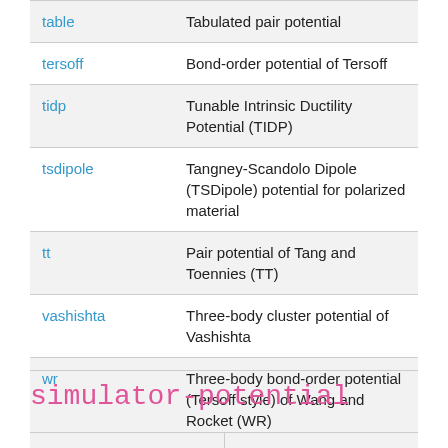|  |  |
| --- | --- |
| table | Tabulated pair potential |
| tersoff | Bond-order potential of Tersoff |
| tidp | Tunable Intrinsic Ductility Potential (TIDP) |
| tsdipole | Tangney-Scandolo Dipole (TSDipole) potential for polarized material |
| tt | Pair potential of Tang and Toennies (TT) |
| vashishta | Three-body cluster potential of Vashishta |
| wr | Three-body bond-order potential (Tersoff style) of Wang and Rocket (WR) |
simulator-potential